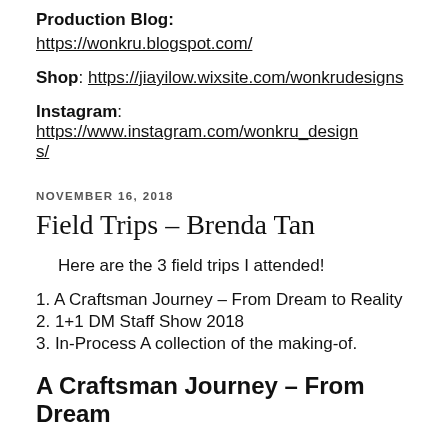Production Blog:
https://wonkru.blogspot.com/
Shop: https://jiayilow.wixsite.com/wonkrudesigns
Instagram: https://www.instagram.com/wonkru_designs/
NOVEMBER 16, 2018
Field Trips – Brenda Tan
Here are the 3 field trips I attended!
1. A Craftsman Journey – From Dream to Reality
2. 1+1 DM Staff Show 2018
3. In-Process A collection of the making-of.
A Craftsman Journey – From Dream